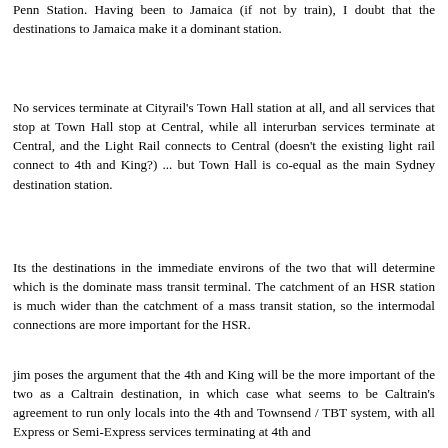Penn Station. Having been to Jamaica (if not by train), I doubt that the destinations to Jamaica make it a dominant station.
No services terminate at Cityrail's Town Hall station at all, and all services that stop at Town Hall stop at Central, while all interurban services terminate at Central, and the Light Rail connects to Central (doesn't the existing light rail connect to 4th and King?) ... but Town Hall is co-equal as the main Sydney destination station.
Its the destinations in the immediate environs of the two that will determine which is the dominate mass transit terminal. The catchment of an HSR station is much wider than the catchment of a mass transit station, so the intermodal connections are more important for the HSR.
jim poses the argument that the 4th and King will be the more important of the two as a Caltrain destination, in which case what seems to be Caltrain's agreement to run only locals into the 4th and Townsend / TBT system, with all Express or Semi-Express services terminating at 4th and